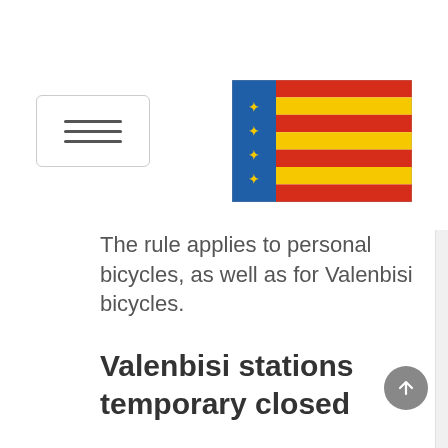[Figure (other): Hamburger menu button with three horizontal lines inside a rounded rectangle border]
[Figure (illustration): Flag of Valencia (Valencian Community): vertical blue stripe with golden heraldic symbols on the left, and four alternating red and yellow horizontal stripes on the right]
The rule applies to personal bicycles, as well as for Valenbisi bicycles.
Valenbisi stations temporary closed